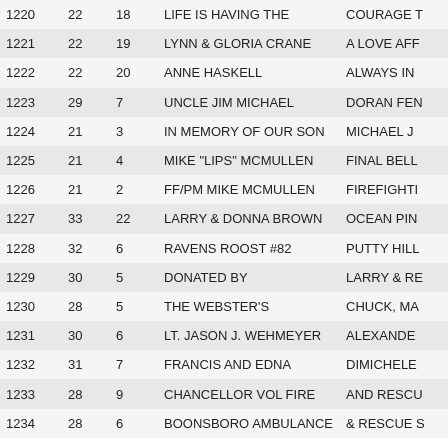| 1220 | 22 | 18 | LIFE IS HAVING THE | COURAGE T |
| 1221 | 22 | 19 | LYNN & GLORIA CRANE | A LOVE AFF |
| 1222 | 22 | 20 | ANNE HASKELL | ALWAYS IN |
| 1223 | 29 | 7 | UNCLE JIM MICHAEL | DORAN FEN |
| 1224 | 21 | 3 | IN MEMORY OF OUR SON | MICHAEL J |
| 1225 | 21 | 4 | MIKE "LIPS" MCMULLEN | FINAL BELL |
| 1226 | 21 | 2 | FF/PM MIKE MCMULLEN | FIREFIGHTI |
| 1227 | 33 | 22 | LARRY & DONNA BROWN | OCEAN PIN |
| 1228 | 32 | 6 | RAVENS ROOST #82 | PUTTY HILL |
| 1229 | 30 | 5 | DONATED BY | LARRY & RE |
| 1230 | 28 | 5 | THE WEBSTER'S | CHUCK, MA |
| 1231 | 30 | 6 | LT. JASON J. WEHMEYER | ALEXANDE |
| 1232 | 31 | 7 | FRANCIS AND EDNA | DIMICHELE |
| 1233 | 28 | 9 | CHANCELLOR VOL FIRE | AND RESCU |
| 1234 | 28 | 6 | BOONSBORO AMBULANCE | & RESCUE S |